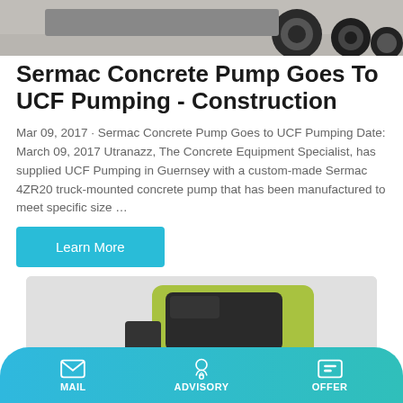[Figure (photo): Top portion of a truck or vehicle with tires visible against a concrete background]
Sermac Concrete Pump Goes To UCF Pumping - Construction
Mar 09, 2017 · Sermac Concrete Pump Goes to UCF Pumping Date: March 09, 2017 Utranazz, The Concrete Equipment Specialist, has supplied UCF Pumping in Guernsey with a custom-made Sermac 4ZR20 truck-mounted concrete pump that has been manufactured to meet specific size …
[Figure (photo): Green and black construction machine cab/operator compartment]
MAIL   ADVISORY   OFFER